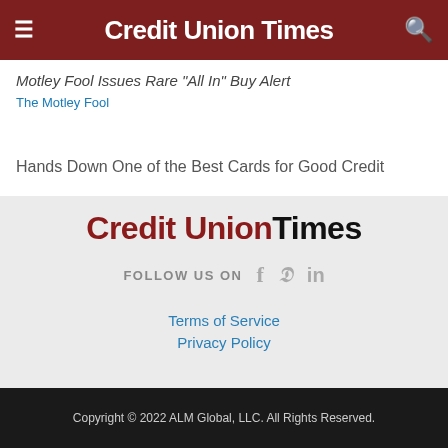Credit Union Times
Motley Fool Issues Rare “All In” Buy Alert
The Motley Fool
Hands Down One of the Best Cards for Good Credit
[Figure (logo): Credit Union Times logo in dark red and black on light gray background]
FOLLOW US ON
Terms of Service
Privacy Policy
Copyright © 2022 ALM Global, LLC. All Rights Reserved.